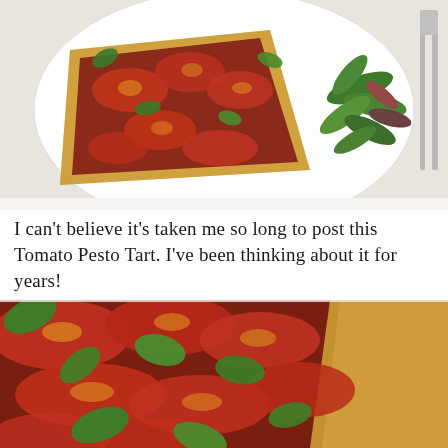[Figure (photo): Overhead photo of a tomato pesto tart slice on a white plate with mixed green salad and silverware on a white background]
I can't believe it's taken me so long to post this Tomato Pesto Tart. I've been thinking about it for years!
[Figure (photo): Close-up photo of a tomato pesto tart with roasted tomatoes, fresh basil leaves on a golden pastry crust]